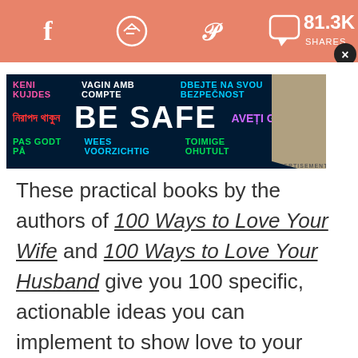[Figure (screenshot): Social sharing bar with Facebook, Messenger, Pinterest, and chat icons on salmon/coral background. Shows 81.3K SHARES on the right with a close (X) button.]
[Figure (screenshot): Advertisement banner with dark navy background showing multilingual 'BE SAFE' message in various colors and languages including Bengali, Albanian, Spanish, Estonian, Romanian, Dutch, and others.]
These practical books by the authors of 100 Ways to Love Your Wife and 100 Ways to Love Your Husband give you 100 specific, actionable ideas you can implement to show love to your children, no matter what age they are. The best part? The short, bite-sized readings make it easy to start right now!